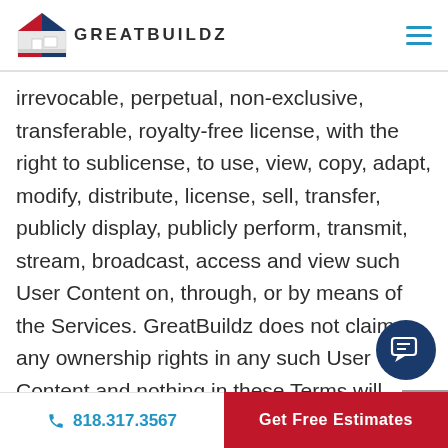GREATBUILDZ
irrevocable, perpetual, non-exclusive, transferable, royalty-free license, with the right to sublicense, to use, view, copy, adapt, modify, distribute, license, sell, transfer, publicly display, publicly perform, transmit, stream, broadcast, access and view such User Content on, through, or by means of the Services. GreatBuildz does not claim any ownership rights in any such User Content and nothing in these Terms will
818.317.3567  Get Free Estimates